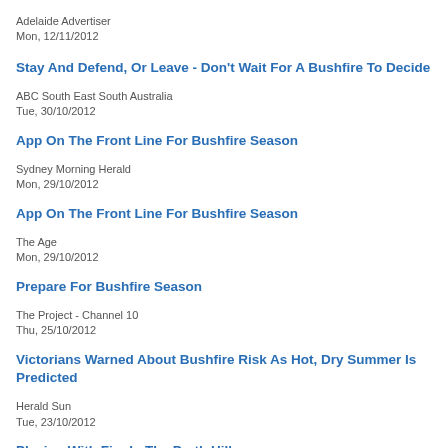Adelaide Advertiser
Mon, 12/11/2012
Stay And Defend, Or Leave - Don't Wait For A Bushfire To Decide
ABC South East South Australia
Tue, 30/10/2012
App On The Front Line For Bushfire Season
Sydney Morning Herald
Mon, 29/10/2012
App On The Front Line For Bushfire Season
The Age
Mon, 29/10/2012
Prepare For Bushfire Season
The Project - Channel 10
Thu, 25/10/2012
Victorians Warned About Bushfire Risk As Hot, Dry Summer Is Predicted
Herald Sun
Tue, 23/10/2012
Playing With Fire In The Perth Hills
The Sunday Times